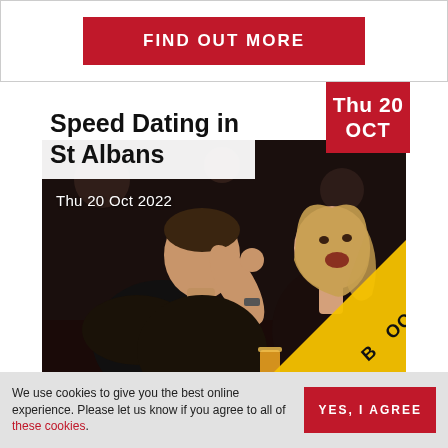FIND OUT MORE
[Figure (photo): Speed Dating in St Albans event card with couple photo, red date badge Thu 20 OCT, and yellow BOOK NOW banner]
Speed Dating in St Albans
Thu 20 Oct 2022
We use cookies to give you the best online experience. Please let us know if you agree to all of these cookies.
YES, I AGREE